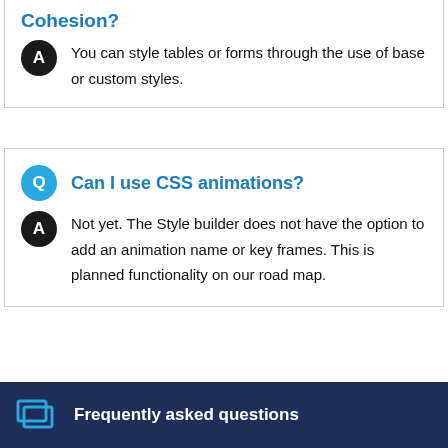Cohesion?
You can style tables or forms through the use of base or custom styles.
Can I use CSS animations?
Not yet. The Style builder does not have the option to add an animation name or key frames. This is planned functionality on our road map.
Frequently asked questions